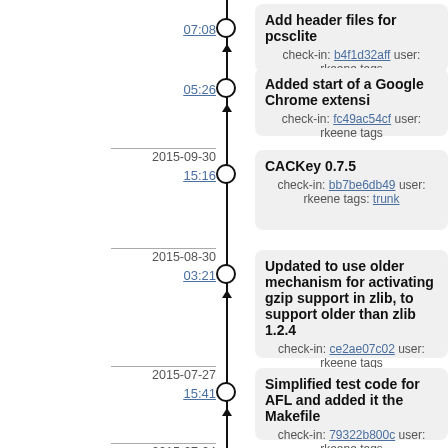07:08
Add header files for pcsclite
check-in: b4f1d32aff user: rkeene tags
05:26
Added start of a Google Chrome extensi
check-in: fc49ac54cf user: rkeene tags
2015-09-30
15:16
CACKey 0.7.5
check-in: bb7be6db49 user: rkeene tags: trunk
2015-08-30
03:21
Updated to use older mechanism for activating gzip support in zlib, to support older than zlib 1.2.4
check-in: ce2ae07c02 user: rkeene tags
2015-07-27
15:41
Simplified test code for AFL and added it the Makefile
check-in: 79322b800c user: rkeene tags
2015-07-24